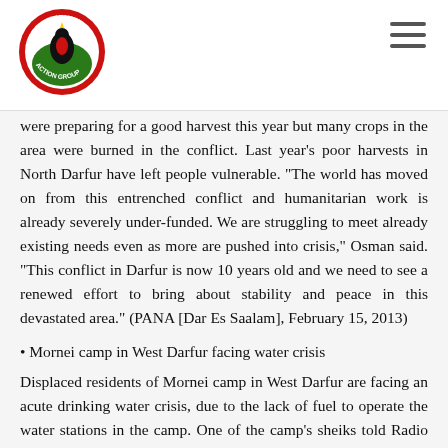[Figure (logo): Darfur Women Action Group circular logo with red, green and black colors showing a woman figure]
were preparing for a good harvest this year but many crops in the area were burned in the conflict. Last year's poor harvests in North Darfur have left people vulnerable. “The world has moved on from this entrenched conflict and humanitarian work is already severely under-funded. We are struggling to meet already existing needs even as more are pushed into crisis,” Osman said. “This conflict in Darfur is now 10 years old and we need to see a renewed effort to bring about stability and peace in this devastated area.” (PANA [Dar Es Saalam], February 15, 2013)
• Mornei camp in West Darfur facing water crisis
Displaced residents of Mornei camp in West Darfur are facing an acute drinking water crisis, due to the lack of fuel to operate the water stations in the camp. One of the camp’s sheiks told Radio Dabanga on Sunday, 10 February, that the camp is facing a water crisis due to the lack of fuel to operate the water stations in the camp. The sheikh